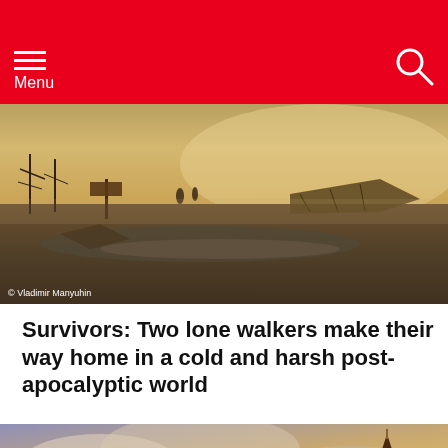Menu
[Figure (photo): Post-apocalyptic landscape scene with desolate muddy terrain, makeshift shelters, and two figures in background. Copyright Vladimir Manyuhin.]
Survivors: Two lone walkers make their way home in a cold and harsh post-apocalyptic world
[Figure (photo): Moscow Red Square showing Saint Basil's Cathedral and Spasskaya Tower against a dramatic cloudy sunset sky.]